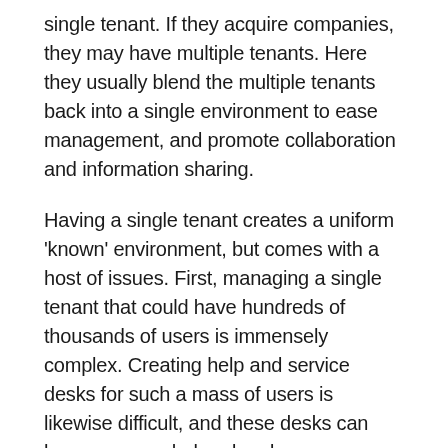single tenant. If they acquire companies, they may have multiple tenants. Here they usually blend the multiple tenants back into a single environment to ease management, and promote collaboration and information sharing.
Having a single tenant creates a uniform 'known' environment, but comes with a host of issues. First, managing a single tenant that could have hundreds of thousands of users is immensely complex. Creating help and service desks for such a mass of users is likewise difficult, and these desks can become overwhelmed and non-responsive. Managing M365 licenses across a distributed massive environment is inefficient and expensive at best.
Security and the Virtual